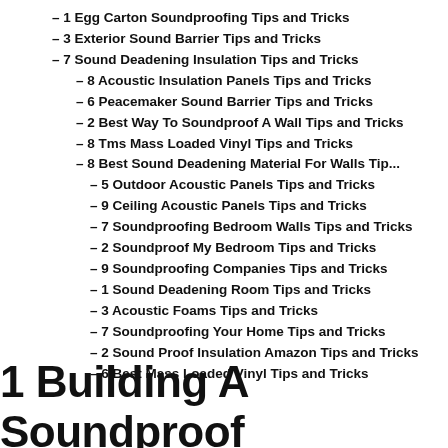– 1 Egg Carton Soundproofing Tips and Tricks
– 3 Exterior Sound Barrier Tips and Tricks
– 7 Sound Deadening Insulation Tips and Tricks
– 8 Acoustic Insulation Panels Tips and Tricks
– 6 Peacemaker Sound Barrier Tips and Tricks
– 2 Best Way To Soundproof A Wall Tips and Tricks
– 8 Tms Mass Loaded Vinyl Tips and Tricks
– 8 Best Sound Deadening Material For Walls Tip...
– 5 Outdoor Acoustic Panels Tips and Tricks
– 9 Ceiling Acoustic Panels Tips and Tricks
– 7 Soundproofing Bedroom Walls Tips and Tricks
– 2 Soundproof My Bedroom Tips and Tricks
– 9 Soundproofing Companies Tips and Tricks
– 1 Sound Deadening Room Tips and Tricks
– 3 Acoustic Foams Tips and Tricks
– 7 Soundproofing Your Home Tips and Tricks
– 2 Sound Proof Insulation Amazon Tips and Tricks
– 6 Best Mass Loaded Vinyl Tips and Tricks
1 Building A Soundproof